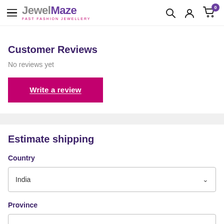JewelMaze — Fast Fashion Jewellery
Customer Reviews
No reviews yet
Write a review
Estimate shipping
Country
India
Province